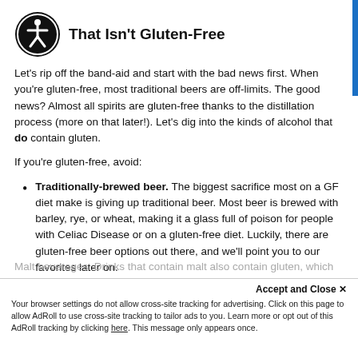That Isn't Gluten-Free
Let's rip off the band-aid and start with the bad news first. When you're gluten-free, most traditional beers are off-limits. The good news? Almost all spirits are gluten-free thanks to the distillation process (more on that later!). Let's dig into the kinds of alcohol that do contain gluten.
If you're gluten-free, avoid:
Traditionally-brewed beer. The biggest sacrifice most on a GF diet make is giving up traditional beer. Most beer is brewed with barley, rye, or wheat, making it a glass full of poison for people with Celiac Disease or on a gluten-free diet. Luckily, there are gluten-free beer options out there, and we'll point you to our favorites later on.
Malt beverages. Drinks that contain malt also contain gluten, which means that malt beverages…
Accept and Close ✕
Your browser settings do not allow cross-site tracking for advertising. Click on this page to allow AdRoll to use cross-site tracking to tailor ads to you. Learn more or opt out of this AdRoll tracking by clicking here. This message only appears once.